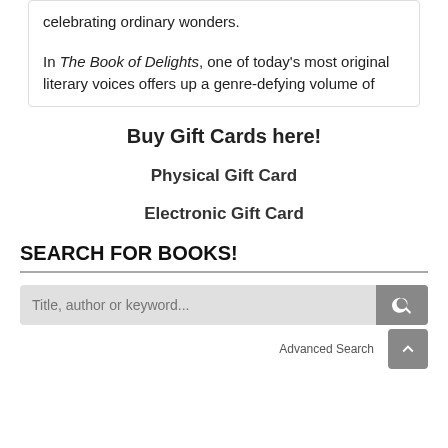celebrating ordinary wonders.

In The Book of Delights, one of today’s most original literary voices offers up a genre-defying volume of
Buy Gift Cards here!
Physical Gift Card
Electronic Gift Card
SEARCH FOR BOOKS!
Title, author or keyword...
Advanced Search